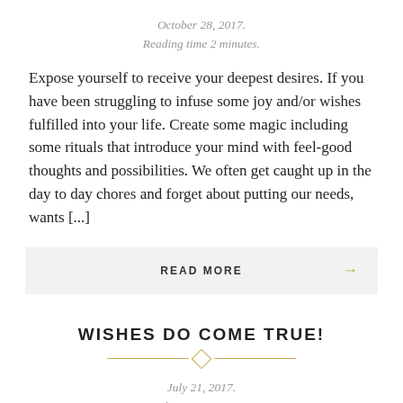October 28, 2017.
Reading time 2 minutes.
Expose yourself to receive your deepest desires. If you have been struggling to infuse some joy and/or wishes fulfilled into your life. Create some magic including some rituals that introduce your mind with feel-good thoughts and possibilities. We often get caught up in the day to day chores and forget about putting our needs, wants [...]
READ MORE →
WISHES DO COME TRUE!
July 21, 2017.
Reading time 2 minutes.